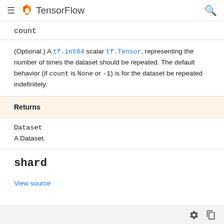TensorFlow
count
(Optional.) A tf.int64 scalar tf.Tensor, representing the number of times the dataset should be repeated. The default behavior (if count is None or -1) is for the dataset be repeated indefinitely.
| Returns |
| --- |
| Dataset |
| A Dataset. |
shard
View source